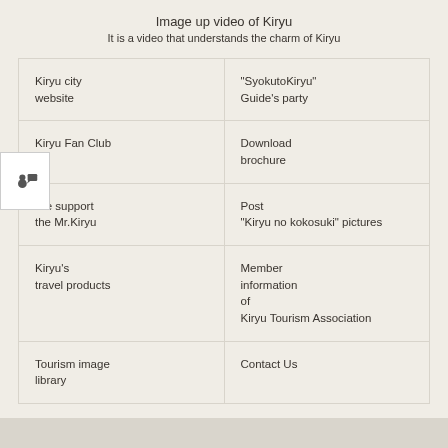Image up video of Kiryu
It is a video that understands the charm of Kiryu
Kiryu city website
"SyokutoKiryu"
Guide's party
Kiryu Fan Club
Download
brochure
We support
the Mr.Kiryu
Post
"Kiryu no kokosuki" pictures
Kiryu's
travel products
Member
information
of
Kiryu Tourism Association
Tourism image
library
Contact Us